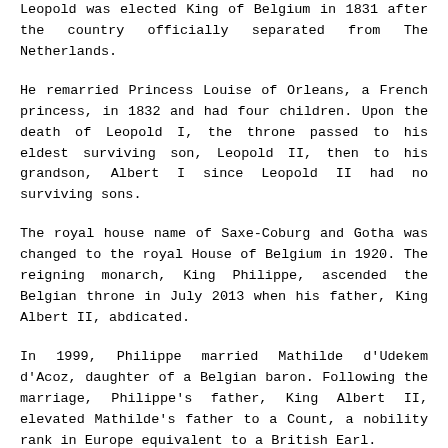Leopold was elected King of Belgium in 1831 after the country officially separated from The Netherlands.
He remarried Princess Louise of Orleans, a French princess, in 1832 and had four children. Upon the death of Leopold I, the throne passed to his eldest surviving son, Leopold II, then to his grandson, Albert I since Leopold II had no surviving sons.
The royal house name of Saxe-Coburg and Gotha was changed to the royal House of Belgium in 1920. The reigning monarch, King Philippe, ascended the Belgian throne in July 2013 when his father, King Albert II, abdicated.
In 1999, Philippe married Mathilde d'Udekem d'Acoz, daughter of a Belgian baron. Following the marriage, Philippe's father, King Albert II, elevated Mathilde's father to a Count, a nobility rank in Europe equivalent to a British Earl.